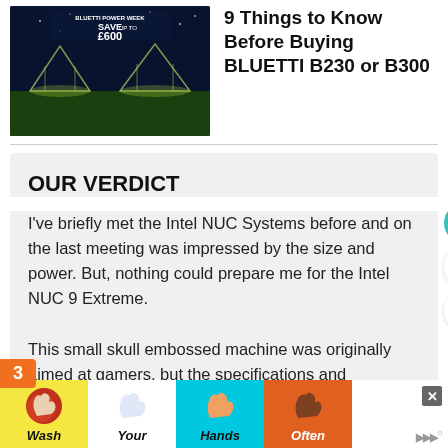[Figure (photo): Advertisement image for BLUETTI showing 'BLUETTI POWER WEEK SAVE up to £600' text over a dark outdoor scene with illuminated structures]
9 Things to Know Before Buying BLUETTI B230 or B300
OUR VERDICT
I've briefly met the Intel NUC Systems before and on the last meeting was impressed by the size and power. But, nothing could prepare me for the Intel NUC 9 Extreme.
This small skull embossed machine was originally aimed at gamers, but the specifications and performance
[Figure (infographic): Advertisement banner showing handwashing steps: Wash Your Hands Often, with colored hand icons on yellow, white, cyan, red, and orange backgrounds]